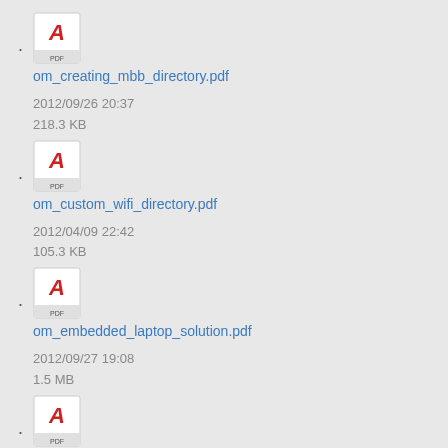om_creating_mbb_directory.pdf
2012/09/26 20:37
218.3 KB
om_custom_wifi_directory.pdf
2012/04/09 22:42
105.3 KB
om_embedded_laptop_solution.pdf
2012/09/27 19:08
1.5 MB
om_ios_2.0.0_quick_start_guide.pdf